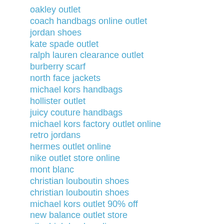oakley outlet
coach handbags online outlet
jordan shoes
kate spade outlet
ralph lauren clearance outlet
burberry scarf
north face jackets
michael kors handbags
hollister outlet
juicy couture handbags
michael kors factory outlet online
retro jordans
hermes outlet online
nike outlet store online
mont blanc
christian louboutin shoes
christian louboutin shoes
michael kors outlet 90% off
new balance outlet store
nike high heels online
mont blanc legend
coach factory outlet online